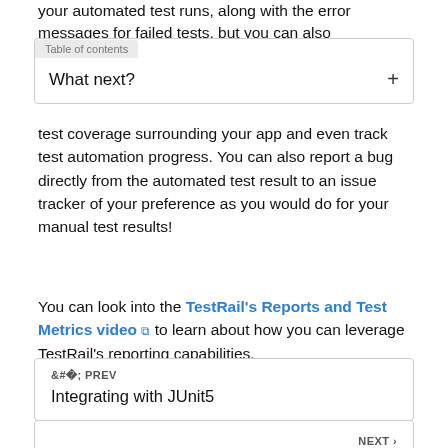your automated test runs, along with the error messages for failed tests, but you can also
Table of contents
What next? +
test coverage surrounding your app and even track test automation progress. You can also report a bug directly from the automated test result to an issue tracker of your preference as you would do for your manual test results!
You can look into the TestRail's Reports and Test Metrics video [external link icon] to learn about how you can leverage TestRail's reporting capabilities.
‹ PREV
Integrating with JUnit5
NEXT ›